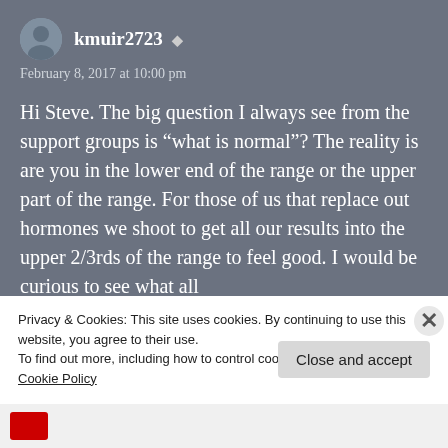kmuir2723
February 8, 2017 at 10:00 pm
Hi Steve. The big question I always see from the support groups is “what is normal”? The reality is are you in the lower end of the range or the upper part of the range. For those of us that replace out hormones we shoot to get all our results into the upper 2/3rds of the range to feel good. I would be curious to see what all
Privacy & Cookies: This site uses cookies. By continuing to use this website, you agree to their use.
To find out more, including how to control cookies, see here:
Cookie Policy
Close and accept